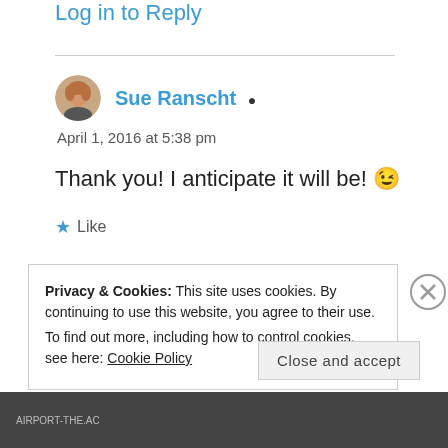Log in to Reply
Sue Ranscht
April 1, 2016 at 5:38 pm
Thank you! I anticipate it will be! 😉
⭐ Like
Privacy & Cookies: This site uses cookies. By continuing to use this website, you agree to their use.
To find out more, including how to control cookies, see here: Cookie Policy
Close and accept